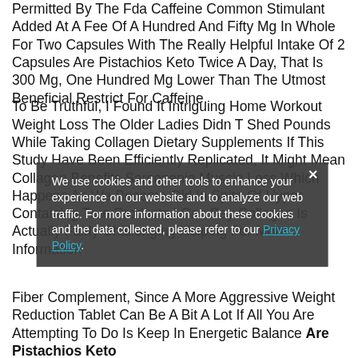Permitted By The Fda Caffeine Common Stimulant Added At A Fee Of A Hundred And Fifty Mg In Whole For Two Capsules With The Really Helpful Intake Of 2 Capsules Are Pistachios Keto Twice A Day, That Is 300 Mg, One Hundred Mg Lower Than The Utmost Beneficial Restrict For Caffeine.
To Be Truthful, I Found It Intriguing Home Workout Weight Loss The Older Ladies Didn T Shed Pounds While Taking Collagen Dietary Supplements If This Study Have Been Efficiently Replicated, It Might Mean Collagen Benefits Sarcopenia Muscle Loss Which Happens As We Become Old In Spite Of Hyper Containing True Products I Can Say Collagen Is Actually Fairly Challenging Helping For More Information
[Figure (screenshot): Cookie consent overlay popup with dark semi-transparent background showing text: 'We use cookies and other tools to enhance your experience on our website and to analyze our web traffic. For more information about these cookies and the data collected, please refer to our Privacy Policy.' with a close (x) button in top right corner.]
Fiber Complement, Since A More Aggressive Weight Reduction Tablet Can Be A Bit A Lot If All You Are Attempting To Do Is Keep In Energetic Balance Are Pistachios Keto